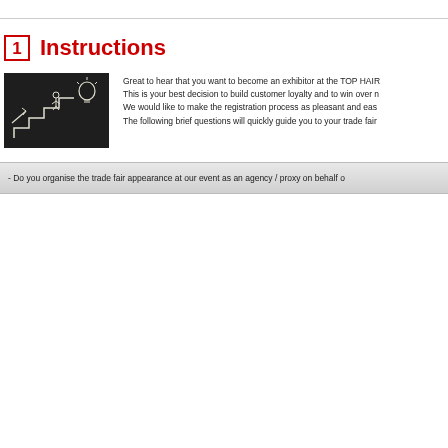1  Instructions
[Figure (illustration): Chalk drawing on blackboard showing a stick figure climbing stairs toward a lightbulb, with an arrow pointing upward]
Great to hear that you want to become an exhibitor at the TOP HAIR This is your best decision to build customer loyalty and to win over n We would like to make the registration process as pleasant and eas The following brief questions will quickly guide you to your trade fair
- Do you organise the trade fair appearance at our event as an agency / proxy on behalf o